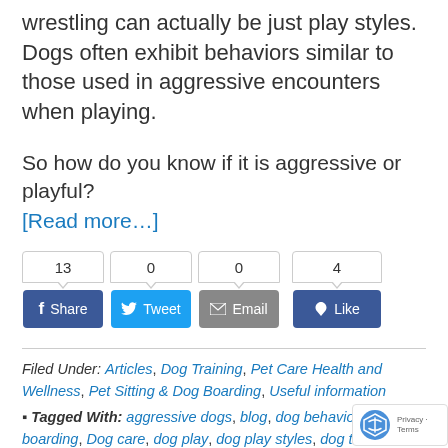wrestling can actually be just play styles. Dogs often exhibit behaviors similar to those used in aggressive encounters when playing.
So how do you know if it is aggressive or playful?
[Read more…]
[Figure (other): Social share buttons: Facebook Share (13), Tweet (0), Email (0), Facebook Like (4)]
Filed Under: Articles, Dog Training, Pet Care Health and Wellness, Pet Sitting & Dog Boarding, Useful information
Tagged With: aggressive dogs, blog, dog behavior, Dog boarding, Dog care, dog play, dog play styles, dog training, dog training, Rosie's house, Good Books…